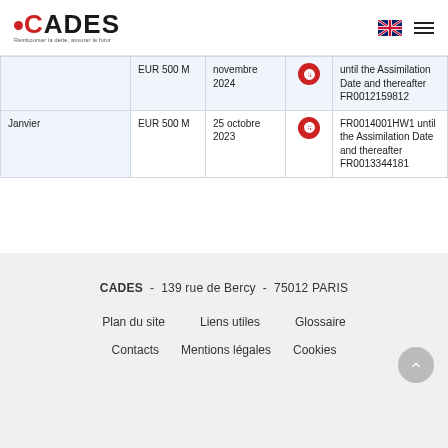CADES - Rembourser la dette, assurer le futur
|  | Montant | Date | PDF | ISIN |
| --- | --- | --- | --- | --- |
|  | EUR 500 M | novembre 2024 |  | until the Assimilation Date and thereafter FR0012159812 |
| Janvier | EUR 500 M | 25 octobre 2023 |  | FR0014001HW1 until the Assimilation Date and thereafter FR0013344181 |
CADES - 139 rue de Bercy - 75012 PARIS
Plan du site
Liens utiles
Glossaire
Contacts
Mentions légales
Cookies